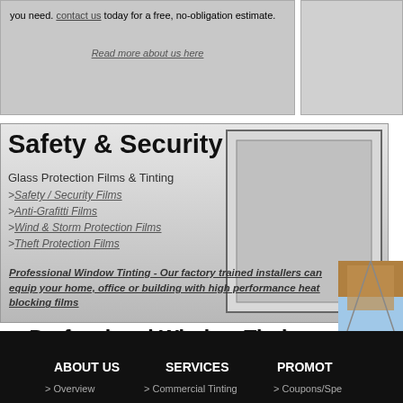you need. contact us today for a free, no-obligation estimate.
Read more about us here
Safety & Security
Glass Protection Films & Tinting
>Safety / Security Films
>Anti-Grafitti Films
>Wind & Storm Protection Films
>Theft Protection Films
Read our w... news, info...
Read our B...
Professional Window Tinting
Professional Window Tinting - Our factory trained installers can equip your home, office or building with high performance heat blocking films
ABOUT US   SERVICES   PROMOT...   > Overview   > Commercial Tinting   > Coupons/Sp...